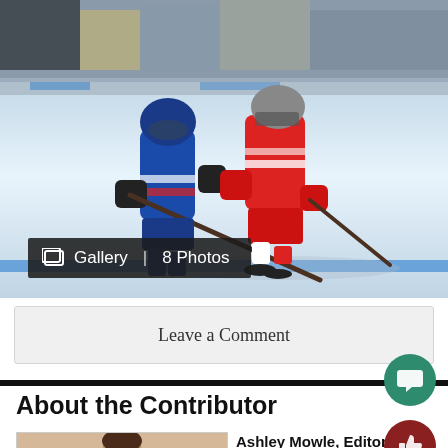[Figure (photo): Ice hockey players in action - a player in blue jersey checks a player in red and white jersey against the boards at an ice rink]
Gallery | 8 Photos
Leave a Comment
About the Contributor
[Figure (photo): Headshot photo of Ashley Mowle]
Ashley Mowle, Editor-in-Chief of ArapahoeXtra